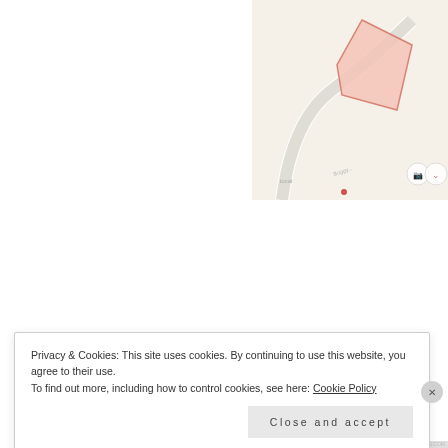[Figure (screenshot): Mobile app screenshot showing a ride summary with GPS map path (oval route in pinkish-red), ride stats (45min 13sec, 2.9 m/s, 4.4 mph, Medium ground), and Gait breakdown with Walk (23min 44sec), Trot (07min 37sec), Canter (08min 05sec) circles, with expandable chevron buttons.]
Figure 2: Overall ride summary with expandable details such as your GPS recorded riding path and
Privacy & Cookies: This site uses cookies. By continuing to use this website, you agree to their use.
To find out more, including how to control cookies, see here: Cookie Policy
Close and accept